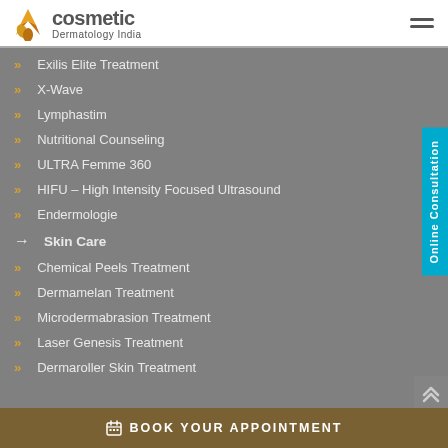Cosmetic Dermatology India
Exilis Elite Treatment
X-Wave
Lymphastim
Nutritional Counseling
ULTRA Femme 360
HIFU – High Intensity Focused Ultrasound
Endermologie
Skin Care
Chemical Peels Treatment
Dermamelan Treatment
Microdermabrasion Treatment
Laser Genesis Treatment
Dermaroller Skin Treatment
BOOK YOUR APPOINTMENT